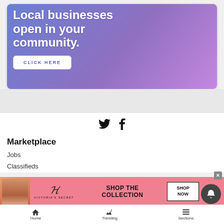[Figure (infographic): Advertisement banner with purple-blue gradient background showing text 'Local businesses open in your community.' with a white CLICK HERE button]
[Figure (infographic): Twitter and Facebook social media icons centered on white background]
Marketplace
Jobs
Classifieds
[Figure (infographic): Victoria's Secret advertisement strip with pink background, model photo, logo, 'SHOP THE COLLECTION' text, and SHOP NOW button]
Home   Trending   Sections